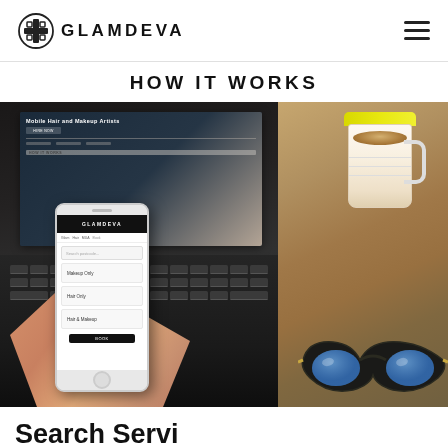GLAMDEVA
HOW IT WORKS
[Figure (photo): A person holding a smartphone displaying the Glamdeva app in front of a laptop showing the Glamdeva website. On the right side of the image, there is a coffee mug with a yellow rim and blue-lens sunglasses on a wooden table surface.]
Search Servi...